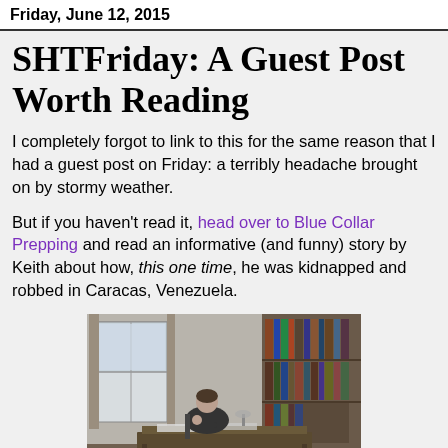Friday, June 12, 2015
SHTFriday: A Guest Post Worth Reading
I completely forgot to link to this for the same reason that I had a guest post on Friday: a terribly headache brought on by stormy weather.
But if you haven't read it, head over to Blue Collar Prepping and read an informative (and funny) story by Keith about how, this one time, he was kidnapped and robbed in Caracas, Venezuela.
[Figure (photo): Black and white illustration of a man sitting at a desk in a library or study, with bookshelves in the background and a window to the left.]